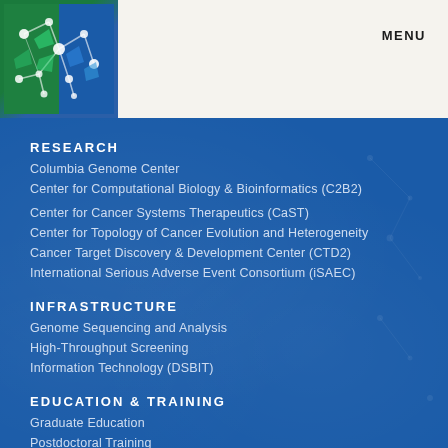[Figure (logo): Columbia genomics/bioinformatics logo with network nodes on green and blue background]
MENU
RESEARCH
Columbia Genome Center
Center for Computational Biology & Bioinformatics (C2B2)
Center for Cancer Systems Therapeutics (CaST)
Center for Topology of Cancer Evolution and Heterogeneity
Cancer Target Discovery & Development Center (CTD2)
International Serious Adverse Event Consortium (iSAEC)
INFRASTRUCTURE
Genome Sequencing and Analysis
High-Throughput Screening
Information Technology (DSBIT)
EDUCATION & TRAINING
Graduate Education
Postdoctoral Training